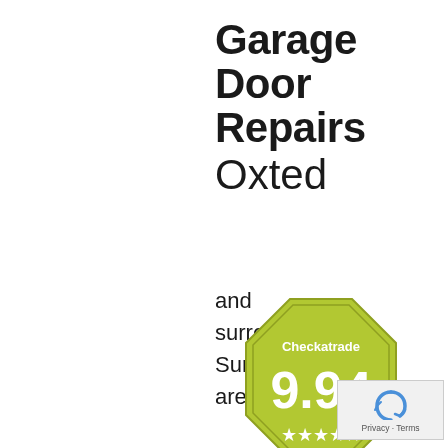Garage Door Repairs Oxted
and surrounding Surrey areas...
[Figure (logo): Checkatrade badge showing rating 9.94 with 5 stars, octagonal shape in olive/yellow-green color]
[Figure (logo): Google reCAPTCHA icon with Privacy - Terms text]